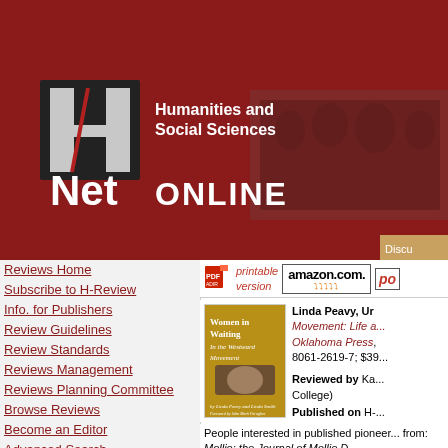[Figure (logo): H-Net: Humanities and Social Sciences Online logo with dark H letter mark and banner with historical photograph]
Reviews Home
Subscribe to H-Review
Info. for Publishers
Review Guidelines
Review Standards
Reviews Management
Reviews Planning Committee
Browse Reviews
Become an Editor
Advanced Search
[Figure (photo): Cover of the book 'Women in Waiting In the Westward Movement' by Linda Peavy and Linda Smith]
Linda Peavy, Ur... Movement: Life a... Oklahoma Press, 8061-2619-7; $39...
Reviewed by Ka... College)
Published on H-...
People interested in published pioneer... from: Mollie: the Journal of Mollie D... Territories, with introduction and note... Women's Diaries of the Westward Jou...